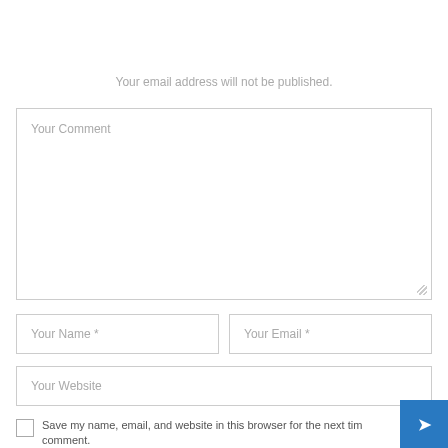Your email address will not be published.
Your Comment
Your Name *
Your Email *
Your Website
Save my name, email, and website in this browser for the next time I comment.